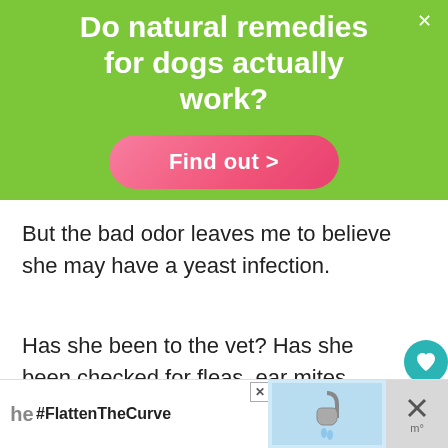[Figure (infographic): Green advertisement banner asking 'Do natural remedies for dogs actually work?' with a pink 'Find out >' button on a green background. A close (×) button is in the top right corner.]
But the bad odor leaves me to believe she may have a yeast infection.
Has she been to the vet? Has she been checked for fleas, ear mites, worms or othe.
[Figure (infographic): Bottom advertisement banner showing '#FlattenTheCurve' text with an image of hands being washed under a faucet, and close/dismiss buttons.]